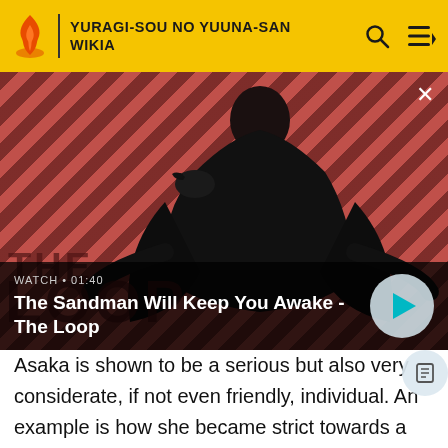YURAGI-SOU NO YUUNA-SAN WIKIA
[Figure (screenshot): Video thumbnail for 'The Sandman Will Keep You Awake - The Loop' with a dark-cloaked figure against a red and black diagonal striped background. Duration shown: 01:40. Play button visible.]
WATCH • 01:40
The Sandman Will Keep You Awake - The Loop
Asaka is shown to be a serious but also very considerate, if not even friendly, individual. An example is how she became strict towards a younger Yaya, Matora, and Koyuzu on sports safety and casually talked to Chitose despite their standings as enemies. While she prefers to avoid conflict, she is both competitive and sporting